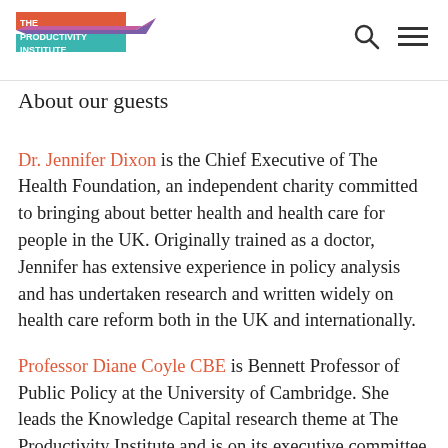The Productivity Institute [logo]
About our guests
Dr. Jennifer Dixon is the Chief Executive of The Health Foundation, an independent charity committed to bringing about better health and health care for people in the UK. Originally trained as a doctor, Jennifer has extensive experience in policy analysis and has undertaken research and written widely on health care reform both in the UK and internationally.
Professor Diane Coyle CBE is Bennett Professor of Public Policy at the University of Cambridge. She leads the Knowledge Capital research theme at The Productivity Institute and is on its executive committee and executive team.